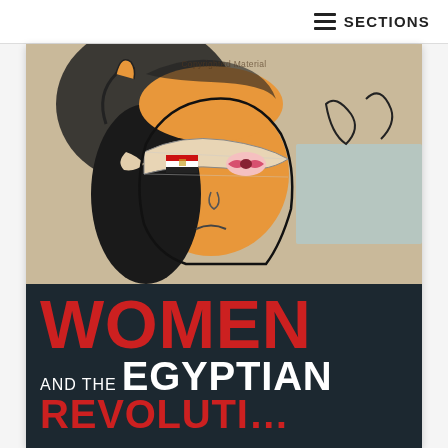≡ SECTIONS
[Figure (illustration): Book cover illustration showing a painted street art figure of a woman with a blindfold/bandage over her eyes, an Egyptian flag over one eye, and red lips. Dark hair, orange/tan skin tones against a textured background. Black and blue graffiti elements surround the figure. Text on cover reads: WOMEN and the EGYPTIAN [REVOLUTION]]
Copyrighted Material